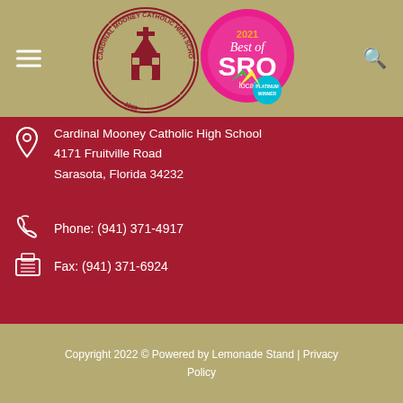[Figure (logo): Cardinal Mooney Catholic High School circular logo and 2021 Best of SRQ Platinum Winner badge]
Cardinal Mooney Catholic High School
4171 Fruitville Road
Sarasota, Florida 34232
Phone: (941) 371-4917
Fax: (941) 371-6924
Copyright 2022 © Powered by Lemonade Stand | Privacy Policy